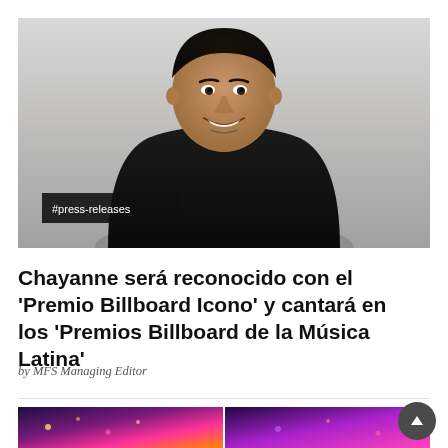[Figure (photo): Portrait photo of Chayanne, a Latin male artist smiling, wearing a black top, against a light grey background. A dark label '#press-releases' appears in the lower-left of the image.]
Chayanne será reconocido con el 'Premio Billboard Icono' y cantará en los 'Premios Billboard de la Música Latina'
by MFS Managing Editor
[Figure (photo): Two side-by-side thumbnail images at the bottom of the page showing colorful concert/event scenes with bright lights and performers.]